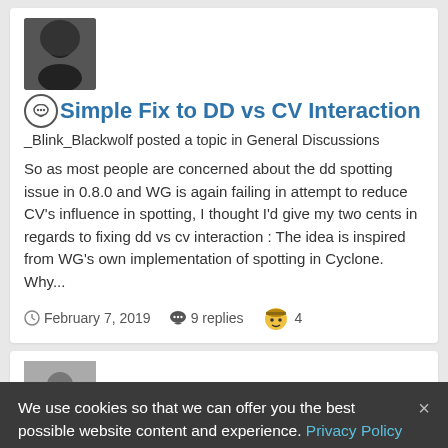[Figure (photo): User avatar – dark hooded figure profile picture]
Simple Fix to DD vs CV Interaction
_Blink_Blackwolf posted a topic in General Discussions
So as most people are concerned about the dd spotting issue in 0.8.0 and WG is again failing in attempt to reduce CV's influence in spotting, I thought I'd give my two cents in regards to fixing dd vs cv interaction : The idea is inspired from WG's own implementation of spotting in Cyclone. Why...
February 7, 2019   9 replies   4
[Figure (photo): User avatar – silhouette placeholder profile picture]
Potential Damage VS Damage Upon...
We use cookies so that we can offer you the best possible website content and experience. Privacy Policy